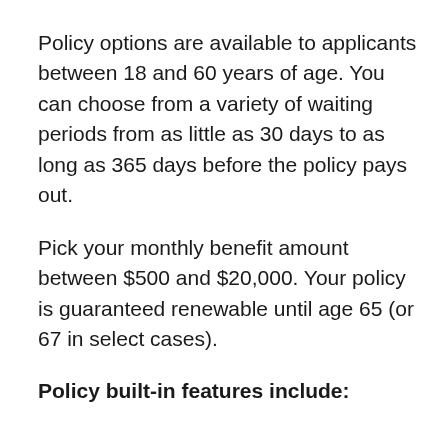Policy options are available to applicants between 18 and 60 years of age. You can choose from a variety of waiting periods from as little as 30 days to as long as 365 days before the policy pays out.
Pick your monthly benefit amount between $500 and $20,000. Your policy is guaranteed renewable until age 65 (or 67 in select cases).
Policy built-in features include: